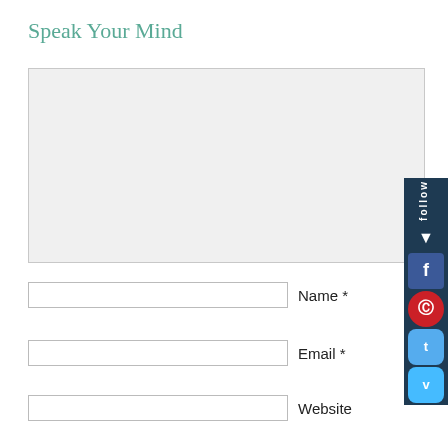Speak Your Mind
[Figure (screenshot): Large empty comment textarea with light gray background]
Name *
Email *
Website
Upload Attachment (Allowed file types: jpg, gif, png, pdf, doc, docx, ogg, wav, wma, mp4, m4v, mov, wmv, avi, mpg, maximum file size: 50
Choose File  No file chosen